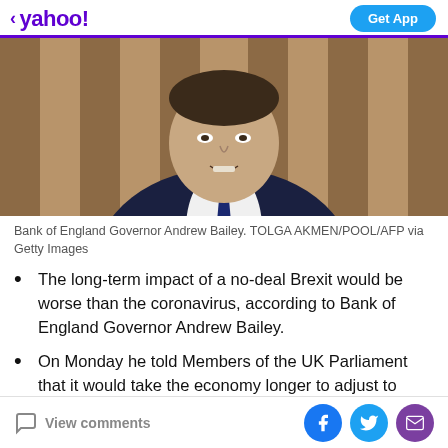< yahoo!  Get App
[Figure (photo): Bank of England Governor Andrew Bailey, a man in a dark suit and dark tie with white shirt, photographed from chest up, blurred golden background.]
Bank of England Governor Andrew Bailey. TOLGA AKMEN/POOL/AFP via Getty Images
The long-term impact of a no-deal Brexit would be worse than the coronavirus, according to Bank of England Governor Andrew Bailey.
On Monday he told Members of the UK Parliament that it would take the economy longer to adjust to
View comments